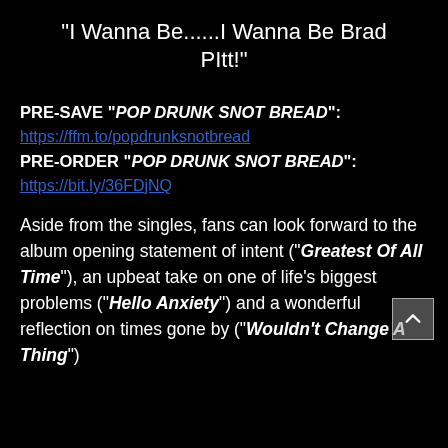"I Wanna Be......I Wanna Be Brad PItt!"
PRE-SAVE "POP DRUNK SNOT BREAD": https://ffm.to/popdrunksnotbread PRE-ORDER "POP DRUNK SNOT BREAD": https://bit.ly/36FDjNQ
Aside from the singles, fans can look forward to the album opening statement of intent ("Greatest Of All Time"), an upbeat take on one of life's biggest problems ("Hello Anxiety") and a wonderful reflection on times gone by ("Wouldn't Change A Thing")